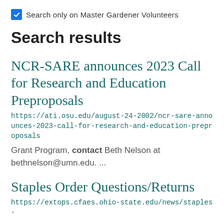Search only on Master Gardener Volunteers
Search results
NCR-SARE announces 2023 Call for Research and Education Preproposals
https://ati.osu.edu/august-24-2002/ncr-sare-announces-2023-call-for-research-and-education-preproposals
Grant Program, contact Beth Nelson at bethnelson@umn.edu. ...
Staples Order Questions/Returns
https://extops.cfaes.ohio-state.edu/news/staples-